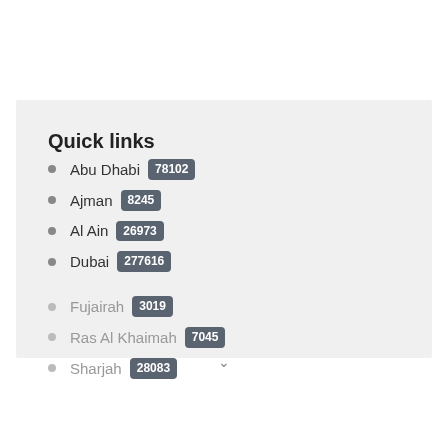Quick links
Abu Dhabi 78102
Ajman 8245
Al Ain 26973
Dubai 277616
Fujairah 3019
Ras Al Khaimah 7045
Sharjah 28083